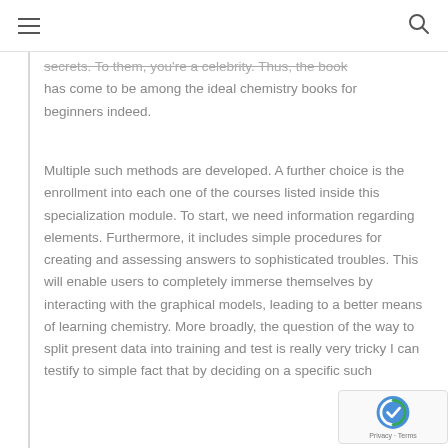secrets. To them, you're a celebrity. Thus, the book has come to be among the ideal chemistry books for beginners indeed.
Multiple such methods are developed. A further choice is the enrollment into each one of the courses listed inside this specialization module. To start, we need information regarding elements. Furthermore, it includes simple procedures for creating and assessing answers to sophisticated troubles. This will enable users to completely immerse themselves by interacting with the graphical models, leading to a better means of learning chemistry. More broadly, the question of the way to split present data into training and test is really very tricky I can testify to simple fact that by deciding on a specific such